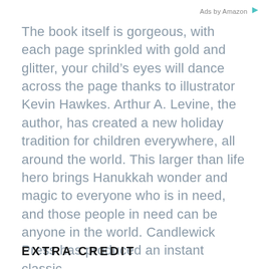Ads by Amazon
The book itself is gorgeous, with each page sprinkled with gold and glitter, your child’s eyes will dance across the page thanks to illustrator Kevin Hawkes. Arthur A. Levine, the author, has created a new holiday tradition for children everywhere, all around the world. This larger than life hero brings Hanukkah wonder and magic to everyone who is in need, and those people in need can be anyone in the world. Candlewick Press has produced an instant classic.
EXTRA CREDIT